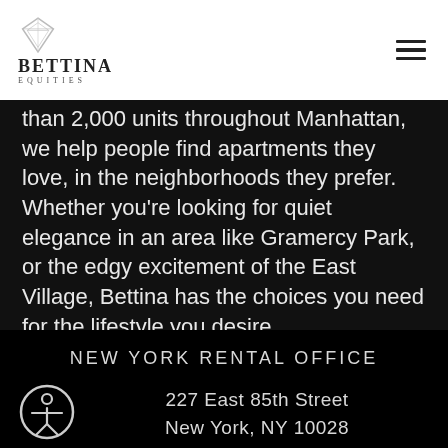Bettina Equities
than 2,000 units throughout Manhattan, we help people find apartments they love, in the neighborhoods they prefer. Whether you're looking for quiet elegance in an area like Gramercy Park, or the edgy excitement of the East Village, Bettina has the choices you need for the lifestyle you desire.
NEW YORK RENTAL OFFICE
227 East 85th Street
New York, NY 10028